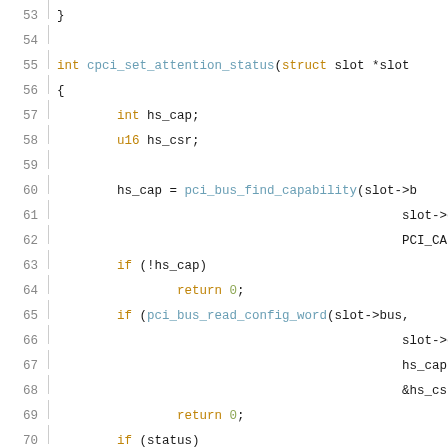[Figure (screenshot): Source code listing showing lines 53-73 of a C function cpci_set_attention_status. Lines are numbered with syntax highlighting. Keywords in orange, function names in blue, values in green.]